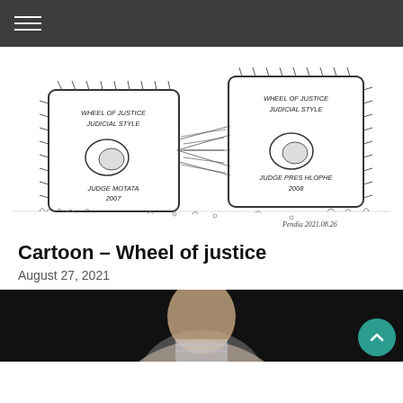Navigation menu
[Figure (illustration): A political cartoon titled 'Wheel of Justice Judicial Style' showing two large stone wheels connected by a cobweb. The left wheel is labeled 'WHEEL OF JUSTICE JUDICIAL STYLE' and 'JUDGE MOTATA 2007'. The right wheel is labeled 'WHEEL OF JUSTICE JUDICIAL STYLE' and 'JUDGE PRES HLOPHE 2008'. Artist signature reads 'Pendia 2021.08.26'.]
Cartoon – Wheel of justice
August 27, 2021
[Figure (photo): Partial photo of a man in a light-colored blazer and striped shirt against a dark background, cropped at the shoulders.]